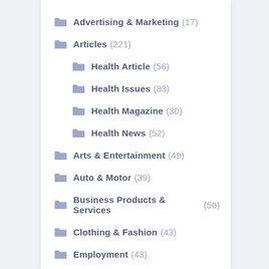Advertising & Marketing (17)
Articles (221)
Health Article (56)
Health Issues (83)
Health Magazine (30)
Health News (52)
Arts & Entertainment (49)
Auto & Motor (39)
Business Products & Services (56)
Clothing & Fashion (43)
Employment (43)
Financial (45)
Fitness (101)